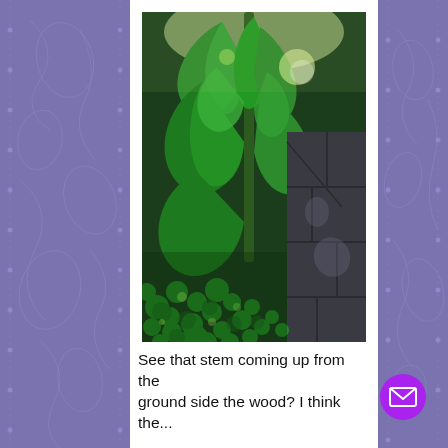[Figure (photo): Close-up photograph of large green tropical leaves (possibly pothos or similar plant) with sun and shadows, alongside small clover-like ground cover plants, next to a dark gray stone or slate wall structure.]
See that stem coming up from the ground side the wood? I think the...